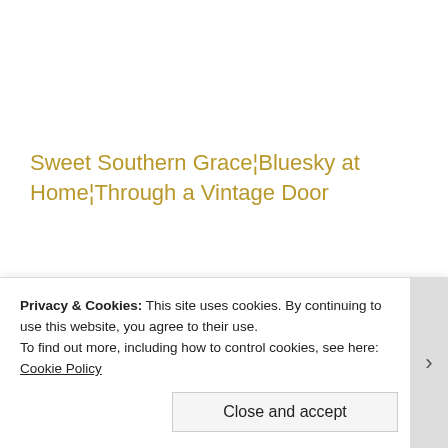Sweet Southern Grace¦Bluesky at Home¦Through a Vintage Door
[Figure (other): Broken image placeholder — a small icon with a document/image symbol in a bordered rectangle]
Privacy & Cookies: This site uses cookies. By continuing to use this website, you agree to their use.
To find out more, including how to control cookies, see here: Cookie Policy
Close and accept